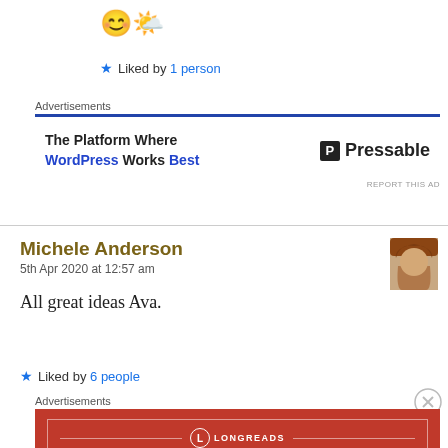😊🌤️
★ Liked by 1 person
Advertisements
[Figure (other): Pressable advertisement banner: 'The Platform Where WordPress Works Best' with Pressable logo]
Michele Anderson
5th Apr 2020 at 12:57 am
All great ideas Ava.
★ Liked by 6 people
Advertisements
[Figure (other): Longreads advertisement: 'The best stories on the web — ours, and everyone else's.']